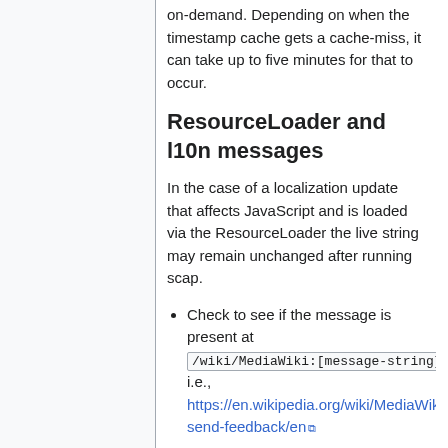on-demand. Depending on when the timestamp cache gets a cache-miss, it can take up to five minutes for that to occur.
ResourceLoader and l10n messages
In the case of a localization update that affects JavaScript and is loaded via the ResourceLoader the live string may remain unchanged after running scap.
Check to see if the message is present at /wiki/MediaWiki:[message-string]/en , i.e., https://en.wikipedia.org/wiki/MediaWiki:Popups-send-feedback/en
If it is correct there, but absent/outdated in a JS response, then the following can be used to